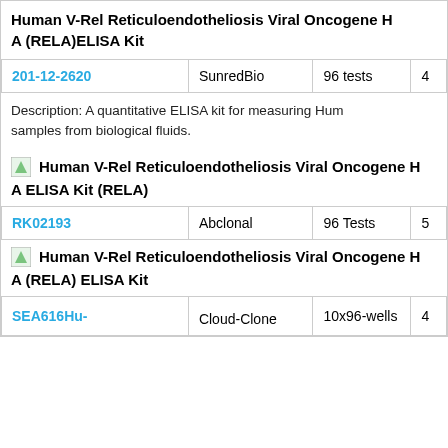Human V-Rel Reticuloendotheliosis Viral Oncogene Homolog A (RELA)ELISA Kit
| Catalog | Supplier | Size | Price |
| --- | --- | --- | --- |
| 201-12-2620 | SunredBio | 96 tests | 4... |
Description: A quantitative ELISA kit for measuring Hum... samples from biological fluids.
Human V-Rel Reticuloendotheliosis Viral Oncogene Homolog A ELISA Kit (RELA)
| Catalog | Supplier | Size | Price |
| --- | --- | --- | --- |
| RK02193 | Abclonal | 96 Tests | 5... |
Human V-Rel Reticuloendotheliosis Viral Oncogene Homolog A (RELA) ELISA Kit
| Catalog | Supplier | Size | Price |
| --- | --- | --- | --- |
| SEA616Hu- | Cloud-Clone | 10x96-wells | 4... |